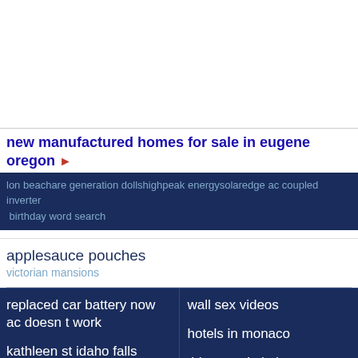[Figure (screenshot): White blank area at top of page, likely an image or ad placeholder]
new manufactured homes for sale in eugene oregon ▶
lon beachare generation dollshighpeak energysolaredge ac coupled inverter birthday word search
applesauce pouches
victorian mansions
replaced car battery now ac doesn t work
wall sex videos
kathleen st idaho falls
hotels in monaco
jaxon hat
things to do in bruges
fort bragg military base
tir prince towyn fair prices